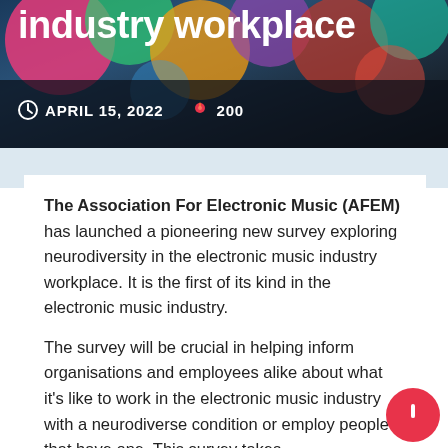industry workplace
APRIL 15, 2022   200
The Association For Electronic Music (AFEM) has launched a pioneering new survey exploring neurodiversity in the electronic music industry workplace. It is the first of its kind in the electronic music industry.
The survey will be crucial in helping inform organisations and employees alike about what it's like to work in the electronic music industry with a neurodiverse condition or employ people that have one. This survey takes